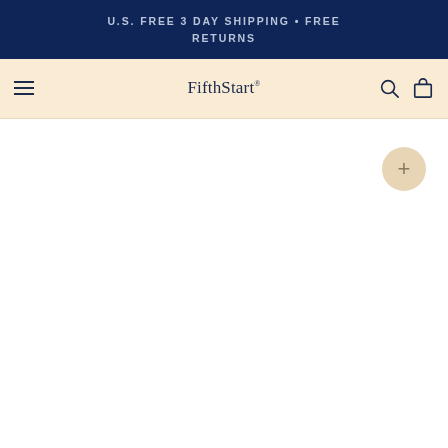U.S. FREE 3 DAY SHIPPING • FREE RETURNS
[Figure (screenshot): FifthStart e-commerce website navigation bar with hamburger menu icon on left, FifthStart brand logo in center, search and shopping bag icons on right, on a cream/beige background]
[Figure (other): Plus button (circular beige button with + symbol) on white page content area]